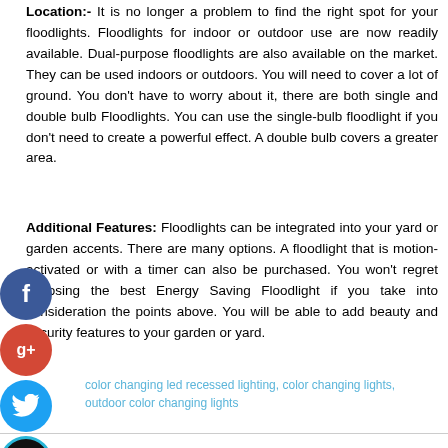Location:- It is no longer a problem to find the right spot for your floodlights. Floodlights for indoor or outdoor use are now readily available. Dual-purpose floodlights are also available on the market. They can be used indoors or outdoors. You will need to cover a lot of ground. You don't have to worry about it, there are both single and double bulb Floodlights. You can use the single-bulb floodlight if you don't need to create a powerful effect. A double bulb covers a greater area.
Additional Features: Floodlights can be integrated into your yard or garden accents. There are many options. A floodlight that is motion-activated or with a timer can also be purchased. You won't regret choosing the best Energy Saving Floodlight if you take into consideration the points above. You will be able to add beauty and security features to your garden or yard.
[Figure (other): Social media share icons: Facebook (blue circle with f), Google+ (red circle with g+), Twitter (blue circle with bird), and a dark circle with + sign]
color changing led recessed lighting, color changing lights, outdoor color changing lights